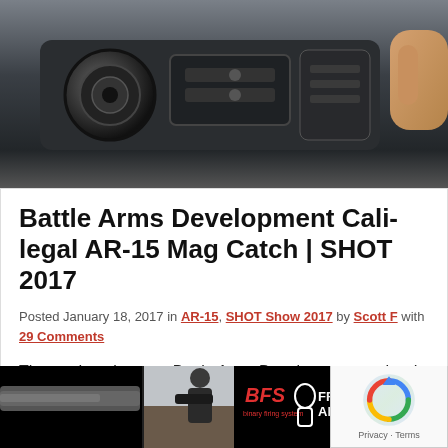[Figure (photo): Close-up photo of a black AR-15 firearm component, likely a magazine catch or receiver detail, with a hand visible at the right edge. Dark metallic mechanical parts on gray background.]
Battle Arms Development Cali-legal AR-15 Mag Catch | SHOT 2017
Posted January 18, 2017 in AR-15, SHOT Show 2017 by Scott F with 29 Comments
The mad geniuses at Battle Arms Development are hard at it again this year with a product for SHOT Show 2017 that is entirely relevant to the AR-15 shooter stuck with California's new firearms laws. Battle Arms Development have designed a rather clever new way [Read More…]
[Figure (photo): Advertisement banner for Franklin Armory with a shooter at a firing range and the BFS (Binary Firing System) logo on a black background.]